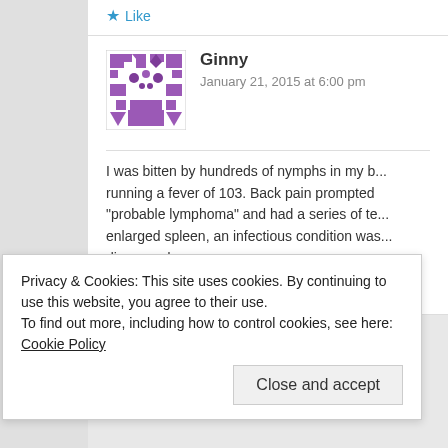Like
[Figure (illustration): Purple geometric avatar/identicon for user Ginny]
Ginny
January 21, 2015 at 6:00 pm
I was bitten by hundreds of nymphs in my b... running a fever of 103. Back pain prompted "probable lymphoma" and had a series of te... enlarged spleen, an infectious condition was... diagnosed.
Liked by 1 person
Privacy & Cookies: This site uses cookies. By continuing to use this website, you agree to their use.
To find out more, including how to control cookies, see here: Cookie Policy
Close and accept